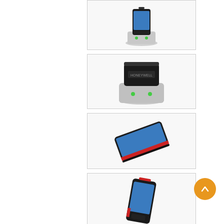[Figure (photo): Product thumbnail: handheld scanner device in docking cradle, front view with blue screen, white cradle base]
[Figure (photo): Product thumbnail: handheld scanner device in docking cradle, top-down view showing top of device in white cradle]
[Figure (photo): Product thumbnail: handheld scanner device lying flat, angled view showing blue touchscreen and red accent stripe]
[Figure (photo): Product thumbnail: handheld scanner device standing upright at angle, showing blue touchscreen]
[Figure (photo): Product thumbnail: two handheld scanner devices, one showing front blue screen, one showing back/dark side]
[Figure (photo): Product thumbnail: handheld scanner device, partial view from top/front]